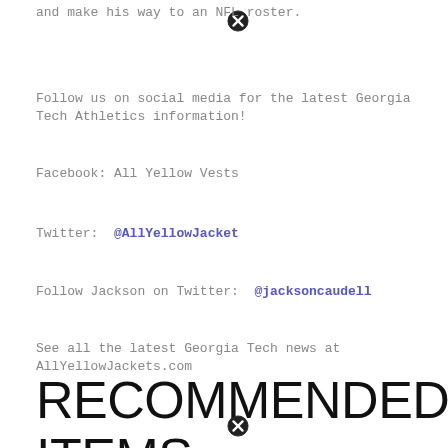and make his way to an NFL roster.
Follow us on social media for the latest Georgia Tech Athletics information!
Facebook:  All Yellow Vests
Twitter:  @AllYellowJacket
Follow Jackson on Twitter:  @jacksoncaudell
See all the latest Georgia Tech news at AllYellowJackets.com
RECOMMENDED ITEMS